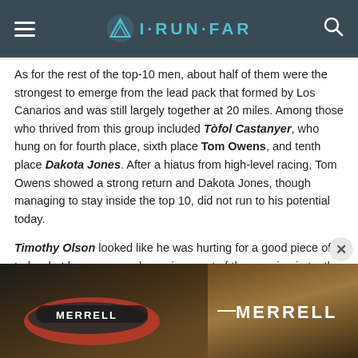I·RUN·FAR
As for the rest of the top-10 men, about half of them were the strongest to emerge from the lead pack that formed by Los Canarios and was still largely together at 20 miles. Among those who thrived from this group included Tòfol Castanyer, who hung on for fourth place, sixth place Tom Owens, and tenth place Dakota Jones. After a hiatus from high-level racing, Tom Owens showed a strong return and Dakota Jones, though managing to stay inside the top 10, did not run to his potential today.
Timothy Olson looked like he was hurting for a good piece of today, but he persevered, running most of the morning in tenth, but moving up to eighth by the end of the race.
[Figure (photo): Merrell shoe advertisement banner showing trail running shoes with the Merrell brand name]